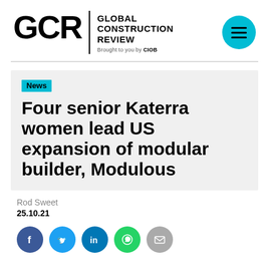GCR | GLOBAL CONSTRUCTION REVIEW Brought to you by CIOB
News
Four senior Katerra women lead US expansion of modular builder, Modulous
Rod Sweet
25.10.21